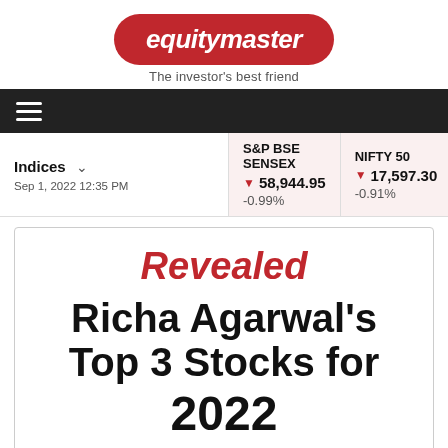[Figure (logo): Equitymaster logo — red pill-shaped badge with white italic bold text 'equitymaster', tagline 'The investor's best friend' below in grey]
equitymaster — The investor's best friend
Indices  Sep 1, 2022 12:35 PM
| S&P BSE SENSEX | NIFTY 50 |
| --- | --- |
| ▼ 58,944.95 | ▼ 17,597.30 |
| -0.99% | -0.91% |
Revealed
Richa Agarwal's Top 3 Stocks for 2022